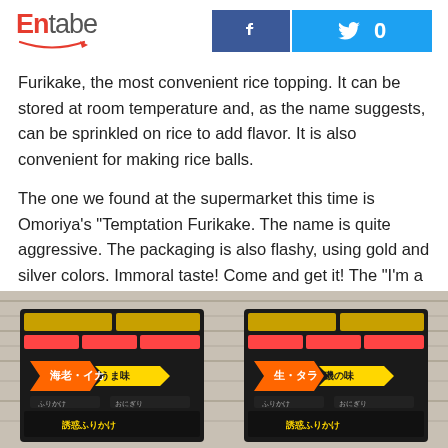Entabe [logo with Facebook and Twitter social buttons, Twitter count: 0]
Furikake, the most convenient rice topping. It can be stored at room temperature and, as the name suggests, can be sprinkled on rice to add flavor. It is also convenient for making rice balls.
The one we found at the supermarket this time is Omoriya's "Temptation Furikake. The name is quite aggressive. The packaging is also flashy, using gold and silver colors. Immoral taste! Come and get it! The "I'm a fan of the food," "I'm a fan of the food," "I'm a fan of the food," and so on.
[Figure (photo): Two packages of Omoriya Temptation Furikake product shown side by side on a wooden surface. Black packaging with Japanese text and colorful graphics.]